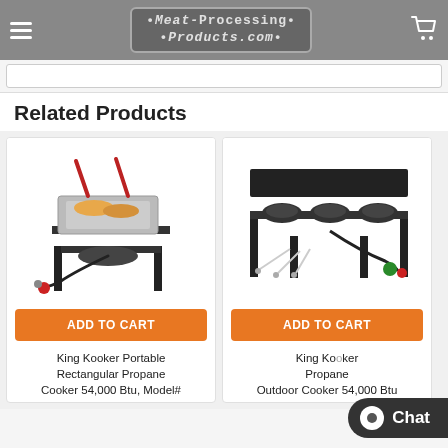Meat-Processing Products.com
Related Products
[Figure (photo): King Kooker Portable Rectangular Propane Cooker with fry baskets and food]
ADD TO CART
King Kooker Portable Rectangular Propane Cooker 54,000 Btu, Model#
[Figure (photo): King Kooker Triple Burner Propane Outdoor Cooker with hose and hardware]
ADD TO CART
King Kooker Propane Outdoor Cooker 54,000 Btu
Chat